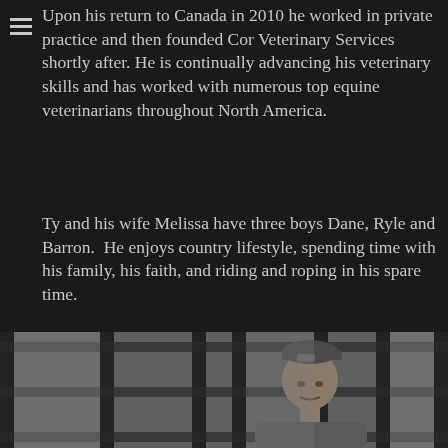Upon his return to Canada in 2010 he worked in private practice and then founded Cor Veterinary Services shortly after. He is continually advancing his veterinary skills and has worked with numerous top equine veterinarians throughout North America.
Ty and his wife Melissa have three boys Dane, Ryle and Barron.  He enjoys country lifestyle, spending time with his family, his faith, and riding and roping in his spare time.
[Figure (photo): Black and white photo of a man wearing a cap standing behind dark metal fence/railing bars]